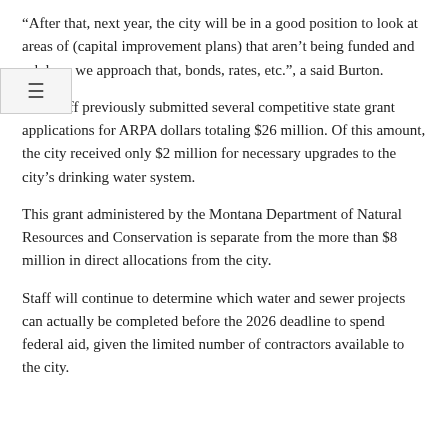“After that, next year, the city will be in a good position to look at areas of (capital improvement plans) that aren’t being funded and ask how we approach that, bonds, rates, etc.”, a said Burton.
City staff previously submitted several competitive state grant applications for ARPA dollars totaling $26 million. Of this amount, the city received only $2 million for necessary upgrades to the city’s drinking water system.
This grant administered by the Montana Department of Natural Resources and Conservation is separate from the more than $8 million in direct allocations from the city.
Staff will continue to determine which water and sewer projects can actually be completed before the 2026 deadline to spend federal aid, given the limited number of contractors available to the city.